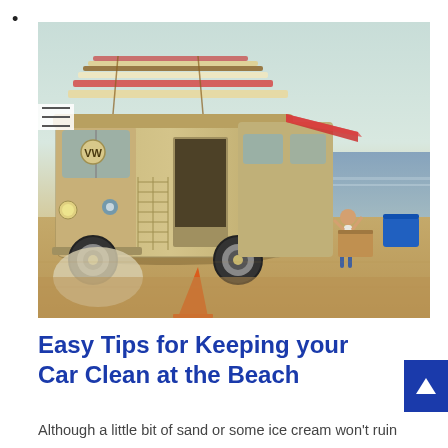•
[Figure (photo): A vintage cream-colored VW bus/camper van parked on a sandy beach with surfboards strapped to the roof rack. The van's side door is open. In the background, a person stands near the van and the ocean is visible with a warm hazy sky. Beach items and a blue cooler are visible in the background.]
Easy Tips for Keeping your Car Clean at the Beach
Although a little bit of sand or some ice cream won't ruin